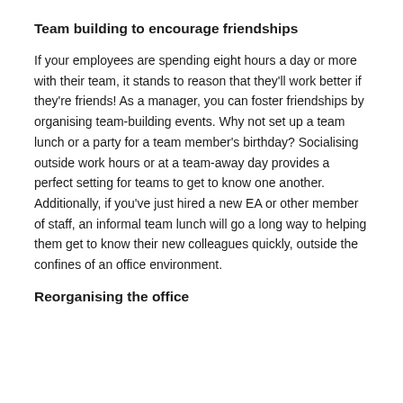Team building to encourage friendships
If your employees are spending eight hours a day or more with their team, it stands to reason that they'll work better if they're friends! As a manager, you can foster friendships by organising team-building events. Why not set up a team lunch or a party for a team member's birthday? Socialising outside work hours or at a team-away day provides a perfect setting for teams to get to know one another. Additionally, if you've just hired a new EA or other member of staff, an informal team lunch will go a long way to helping them get to know their new colleagues quickly, outside the confines of an office environment.
Reorganising the office